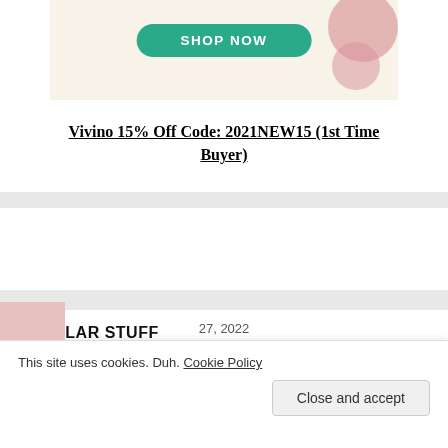[Figure (screenshot): Vivino shop banner with teal 'SHOP NOW' button on cream background with pink circle decorations]
Vivino 15% Off Code: 2021NEW15 (1st Time Buyer)
[Figure (other): White blank advertisement card area]
POPULAR STUFF
[Figure (photo): Book thumbnail cover image for Friends Will Be Friends by Randy Caparoso]
Wine Product Reviews: Friends Will Be Friends (New Books by Randy Caparoso
This site uses cookies. Duh. Cookie Policy
Close and accept
27, 2022